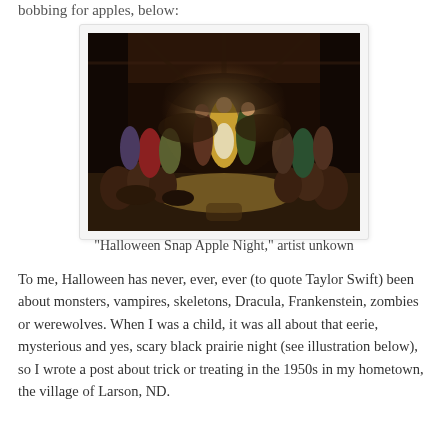bobbing for apples, below:
[Figure (illustration): A historical painting depicting a large group of people gathered in a barn or hall, engaged in Halloween festivities including what appears to be apple bobbing. A woman in yellow dress stands centrally illuminated. Many figures crowd around in rustic setting.]
"Halloween Snap Apple Night," artist unkown
To me, Halloween has never, ever, ever (to quote Taylor Swift) been about monsters, vampires, skeletons, Dracula, Frankenstein, zombies or werewolves. When I was a child, it was all about that eerie, mysterious and yes, scary black prairie night (see illustration below), so I wrote a post about trick or treating in the 1950s in my hometown, the village of Larson, ND.